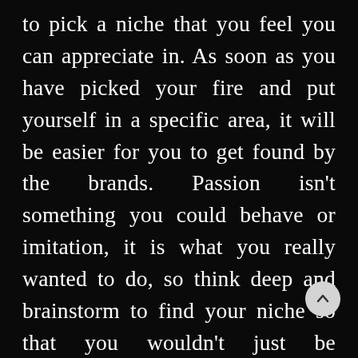to pick a niche that you feel you can appreciate in. As soon as you have picked your fire and put yourself in a specific area, it will be easier for you to get found by the brands. Passion isn't something you could behave or imitation, it is what you really wanted to do, so think deep and brainstorm to find your niche so that you wouldn't just be prosperous, but also true. Start choosing which social media channels you may pay for; consider which Type of content you have the ability to make and publish. If you are good in writing or various kinds of networking, Facebook might be the ideal place. If you are somebody who enjoys photography, Instagram is the preferred one